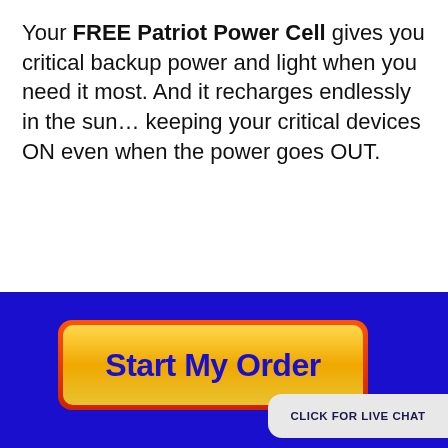Your FREE Patriot Power Cell gives you critical backup power and light when you need it most. And it recharges endlessly in the sun... keeping your critical devices ON even when the power goes OUT.
[Figure (other): Large yellow 'Start My Order' call-to-action button with red border on a dark blue background, with a 'CLICK FOR LIVE CHAT' bubble in the bottom right corner]